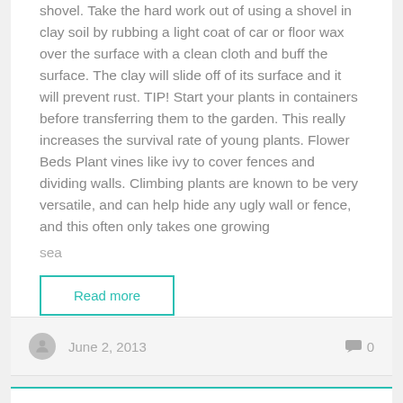shovel. Take the hard work out of using a shovel in clay soil by rubbing a light coat of car or floor wax over the surface with a clean cloth and buff the surface. The clay will slide off of its surface and it will prevent rust. TIP! Start your plants in containers before transferring them to the garden. This really increases the survival rate of young plants. Flower Beds Plant vines like ivy to cover fences and dividing walls. Climbing plants are known to be very versatile, and can help hide any ugly wall or fence, and this often only takes one growing sea...
Read more
June 2, 2013
0